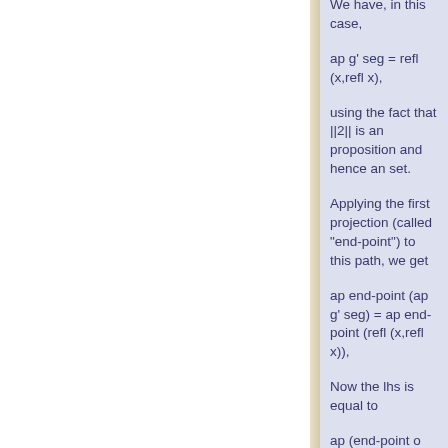We have, in this case,
ap g' seg = refl (x,refl x),
using the fact that ||2|| is an proposition and hence an set.
Applying the first projection (called "end-point") to this path, we get
ap end-point (ap g' seg) = ap end-point (refl (x,refl x)),
Now the lhs is equal to
ap (end-point o g') seg